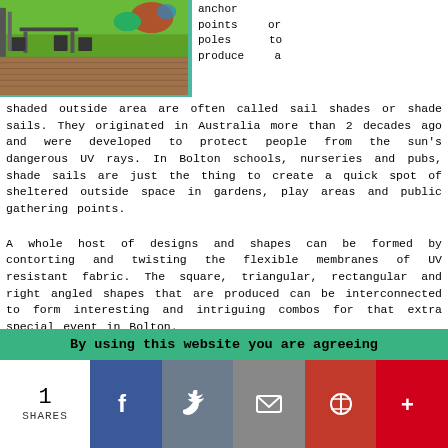[Figure (photo): Outdoor deck/patio area with furniture, green lawn and garden in background]
anchor points or poles to produce a shaded outside area are often called sail shades or shade sails. They originated in Australia more than 2 decades ago and were developed to protect people from the sun's dangerous UV rays. In Bolton schools, nurseries and pubs, shade sails are just the thing to create a quick spot of sheltered outside space in gardens, play areas and public gathering points.
A whole host of designs and shapes can be formed by contorting and twisting the flexible membranes of UV resistant fabric. The square, triangular, rectangular and right angled shapes that are produced can be interconnected to form interesting and intriguing combos for that extra special event in Bolton.
Electric Awnings Bolton
An electric motor takes all the hard graft out of opening and retracting your awning. Retracting and opening your awning can be achieved by using remote controls, wall-
By using this website you are agreeing
1
SHARES